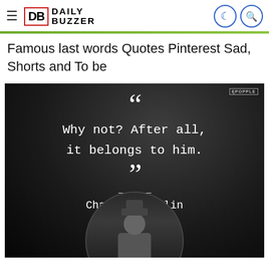Daily Buzzer
Famous last words Quotes Pinterest Sad, Shorts and To be
[Figure (photo): Dark moody background with a quote image. White open quotation marks, text in monospace font reading 'Why not? After all, it belongs to him.' with closing quotation marks, a horizontal divider line, and attribution 'Charlie Chaplin'. A circular portrait of Charlie Chaplin is visible at the bottom. Watermark 'ĘPOPPLE' in top right corner.]